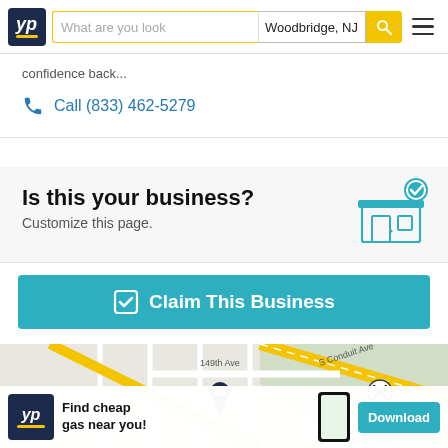[Figure (screenshot): YellowPages (YP) website header with logo, search box showing 'What are you look', location field showing 'Woodbridge, NJ', yellow search button, and hamburger menu icon]
confidence back...
Call (833) 462-5279
Is this your business? Customize this page.
[Figure (illustration): Store front icon with checkmark badge]
Claim This Business
[Figure (map): Google map showing streets near Woodbridge NJ area including 149th Ave, Conduit Ave, with a location pin marker. Bottom ad bar shows YP logo, 'Find cheap gas near you!' text, phone mockup, and Download button. Google copyright 2022 shown.]